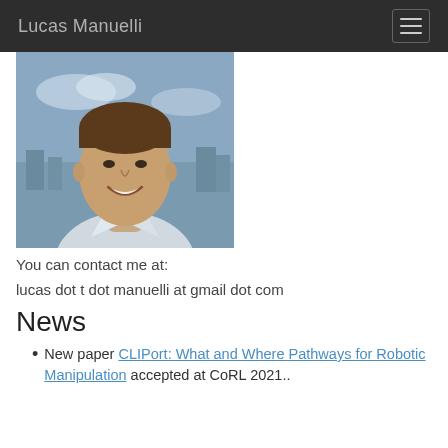Lucas Manuelli
[Figure (photo): Portrait photo of Lucas Manuelli, a smiling young man in a white dress shirt, photographed outdoors with a cityscape in the background.]
You can contact me at:
lucas dot t dot manuelli at gmail dot com
News
New paper CLIPort: What and Where Pathways for Robotic Manipulation accepted at CoRL 2021..